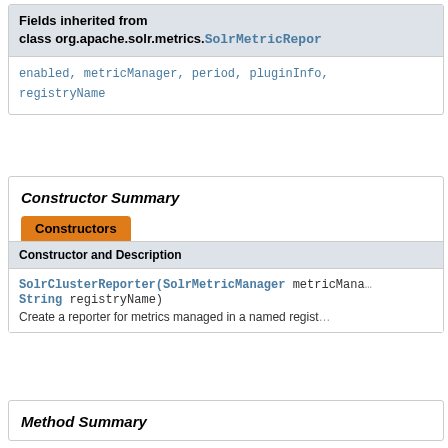| Fields inherited from class org.apache.solr.metrics.SolrMetricRepor... |
| --- |
| enabled, metricManager, period, pluginInfo, registryName |
Constructor Summary
| Constructor and Description |
| --- |
| SolrClusterReporter(SolrMetricManager metricMana... String registryName)
Create a reporter for metrics managed in a named regist... |
Method Summary